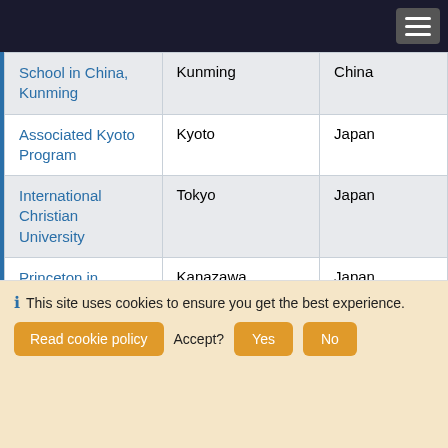| Program | City | Country |
| --- | --- | --- |
| School in China, Kunming | Kunming | China |
| Associated Kyoto Program | Kyoto | Japan |
| International Christian University | Tokyo | Japan |
| Princeton in Ishikawa - Japan (Summer) | Kanazawa | Japan |
| Nanzan University | Nagoya | Japan |
| DukeEngage Seoul | Seoul |  |
This site uses cookies to ensure you get the best experience. Read cookie policy Accept? Yes No